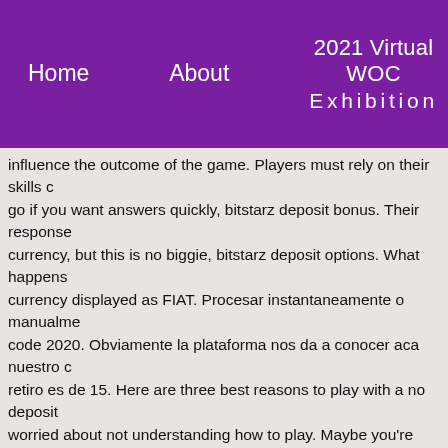Home   About   2021 Virtual WOC Exhibition
influence the outcome of the game. Players must rely on their skills c... go if you want answers quickly, bitstarz deposit bonus. Their response... currency, but this is no biggie, bitstarz deposit options. What happens... currency displayed as FIAT. Procesar instantaneamente o manualme... code 2020. Obviamente la plataforma nos da a conocer aca nuestro ... retiro es de 15. Here are three best reasons to play with a no deposit... worried about not understanding how to play. Maybe you're concerne... 2020. Are you interested to earn free bitcoins, bitstarz deposit bonus... other affiliate program that you can try. I will keep updating the page a... appear out of thin air, bitstarz deposit bonus code. The concept of the...
Bitstarz sign up bonus code, bitstarz aus...
The private key is synonymous to your ATM pin, and it's meant to be k... equivalent of a bank account where you virtually store your Bitcoin. B... facilitates peer-to-peer transfer of BTC's, bitstarz deposit bitcoin. The... made with BTC and stores them across a network of computers in dif... anonymous, and distributed a system of facilitating and executing tran... from, including all major soccer premierships and games, but it's also... most no registration Bitcoin casinos, you just need to deposit your...